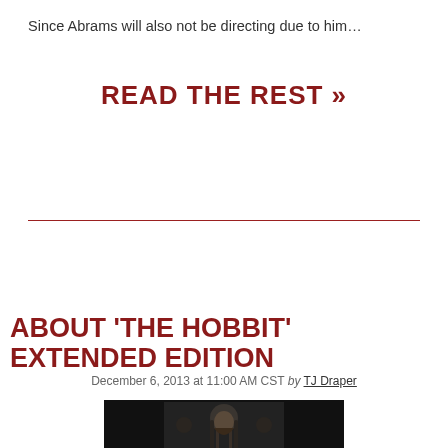Since Abrams will also not be directing due to him…
Read The Rest »
About 'The Hobbit' Extended Edition
December 6, 2013 at 11:00 AM CST by TJ Draper
[Figure (photo): Dark movie still showing a character with long dark hair and beard, from The Hobbit film]